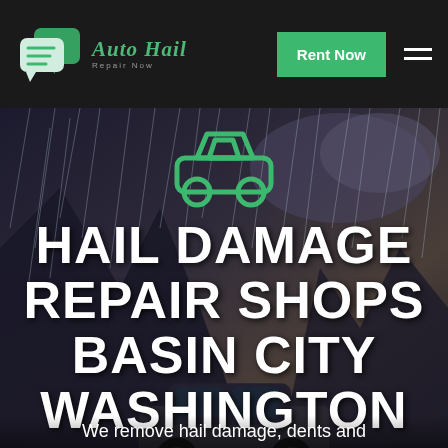[Figure (logo): Auto Hail Repair Now logo with green chat bubble icons and stylized italic green text 'Auto Hail' with subtitle 'Repair Now']
Rent Now
HAIL DAMAGE REPAIR SHOPS BASIN CITY WASHINGTON
We remove hail damage, dents and